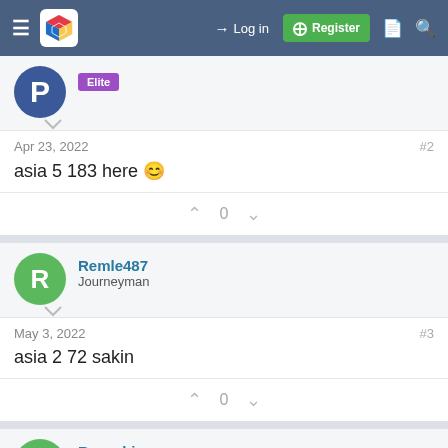Log in | Register
Elite
Apr 23, 2022   #2
asia 5 183 here 😊
0
Remle487
Journeyman
May 3, 2022   #3
asia 2 72 sakin
0
Racyahj
Addict